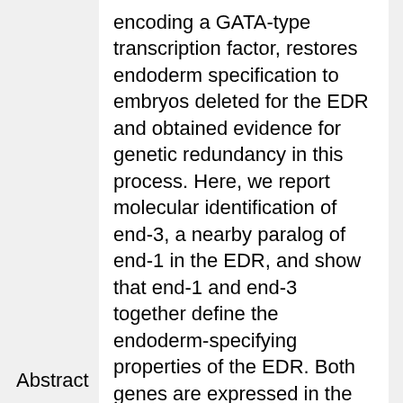encoding a GATA-type transcription factor, restores endoderm specification to embryos deleted for the EDR and obtained evidence for genetic redundancy in this process. Here, we report molecular identification of end-3, a nearby paralog of end-1 in the EDR, and show that end-1 and end-3 together define the endoderm-specifying properties of the EDR. Both genes are expressed in the early E lineage and each is individually sufficient to specify endodermal fate in the E cell and in non-endodermal precursors when ectopically expressed. The loss of function of both end genes, but not either one alone, eliminates endoderm in nearly all embryos and results in conversion of E into a C-like mesectodermal precursor, similar to deletions of the EDR. While two putative end-1 null mutants display no overt
Abstract